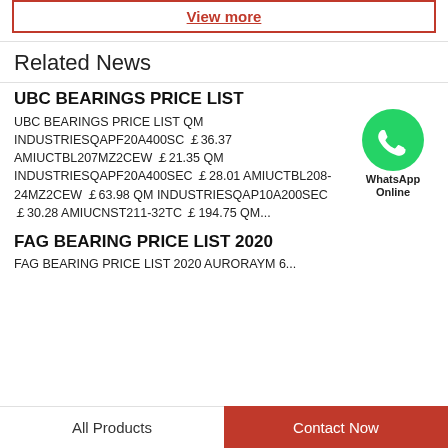View more
Related News
UBC BEARINGS PRICE LIST
UBC BEARINGS PRICE LIST QM INDUSTRIESQAPF20A400SC ￡36.37 AMIUCTBL207MZ2CEW ￡21.35 QM INDUSTRIESQAPF20A400SEC ￡28.01 AMIUCTBL208-24MZ2CEW ￡63.98 QM INDUSTRIESQAP10A200SEC ￡30.28 AMIUCNST211-32TC ￡194.75 QM...
[Figure (logo): WhatsApp Online green phone icon bubble with text 'WhatsApp Online']
FAG BEARING PRICE LIST 2020
FAG BEARING PRICE LIST 2020 AURORAYM 6...
All Products   Contact Now